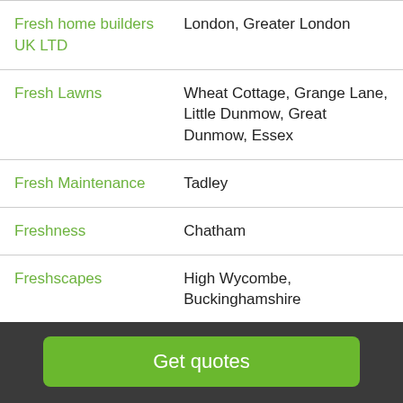| Fresh home builders UK LTD | London, Greater London |
| Fresh Lawns | Wheat Cottage, Grange Lane, Little Dunmow, Great Dunmow, Essex |
| Fresh Maintenance | Tadley |
| Freshness | Chatham |
| Freshscapes | High Wycombe, Buckinghamshire |
| Friendly Water | Unit 9B Camphill Road |
Get quotes